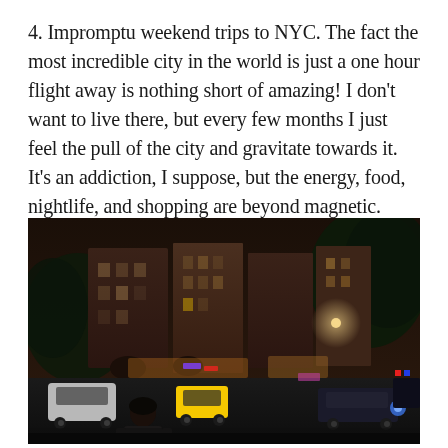4. Impromptu weekend trips to NYC. The fact the most incredible city in the world is just a one hour flight away is nothing short of amazing! I don't want to live there, but every few months I just feel the pull of the city and gravitate towards it. It's an addiction, I suppose, but the energy, food, nightlife, and shopping are beyond magnetic.
[Figure (photo): Nighttime street scene in New York City showing brownstone buildings, trees, parked and moving cars including a yellow taxi, city lights, and a woman standing in the foreground.]